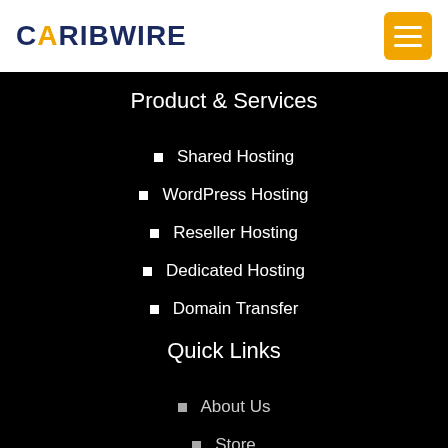CARIBWIRE
Product & Services
Shared Hosting
WordPress Hosting
Reseller Hosting
Dedicated Hosting
Domain Transfer
Quick Links
About Us
Store
Knowledgebase